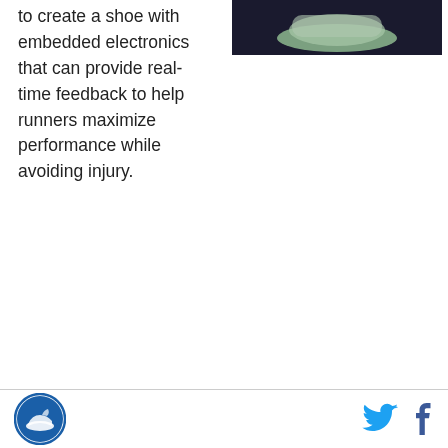to create a shoe with embedded electronics that can provide real-time feedback to help runners maximize performance while avoiding injury.
[Figure (photo): Photo of a running shoe with electronic components, displayed on a dark background, top-right of page (partially cropped at top)]
[Figure (logo): Circular logo with running shoe imagery, bottom-left footer]
[Figure (other): Twitter bird icon, bottom-right footer]
[Figure (other): Facebook 'f' icon, bottom-right footer]